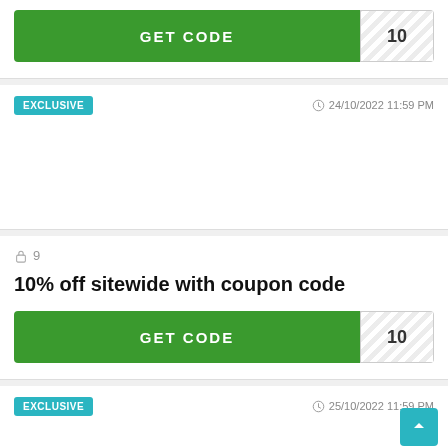[Figure (other): GET CODE button with number 10 on the right side, green background with white striped number box]
EXCLUSIVE
24/10/2022 11:59 PM
9
10% off sitewide with coupon code
[Figure (other): GET CODE button with number 10 on the right side, green background with white striped number box]
EXCLUSIVE
25/10/2022 11:59 PM